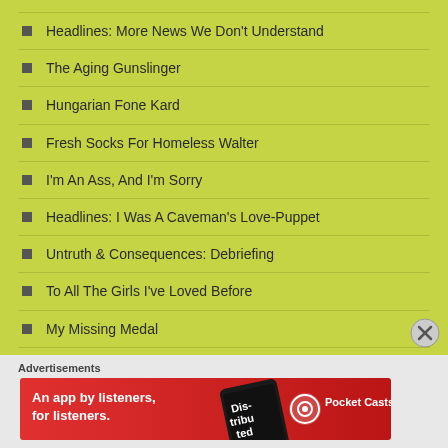Headlines: More News We Don't Understand
The Aging Gunslinger
Hungarian Fone Kard
Fresh Socks For Homeless Walter
I'm An Ass, And I'm Sorry
Headlines: I Was A Caveman's Love-Puppet
Untruth & Consequences: Debriefing
To All The Girls I've Loved Before
My Missing Medal
Promethean Times Questions Existence Of Sri Lanka
Headlines: Shaking And Stirred
Advertisements
[Figure (other): Pocket Casts advertisement banner: 'An app by listeners, for listeners.' with red background and phone image]